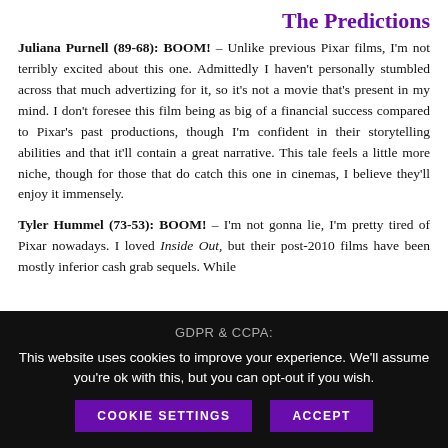The Predictions
Juliana Purnell (89-68): BOOM! – Unlike previous Pixar films, I'm not terribly excited about this one. Admittedly I haven't personally stumbled across that much advertizing for it, so it's not a movie that's present in my mind. I don't foresee this film being as big of a financial success compared to Pixar's past productions, though I'm confident in their storytelling abilities and that it'll contain a great narrative. This tale feels a little more niche, though for those that do catch this one in cinemas, I believe they'll enjoy it immensely.
Tyler Hummel (73-53): BOOM! – I'm not gonna lie, I'm pretty tired of Pixar nowadays. I loved Inside Out, but their post-2010 films have been mostly inferior cash grab sequels. While
GDPR & CCPA:
This website uses cookies to improve your experience. We'll assume you're ok with this, but you can opt-out if you wish.
COOKIE SETTINGS
ACCEPT